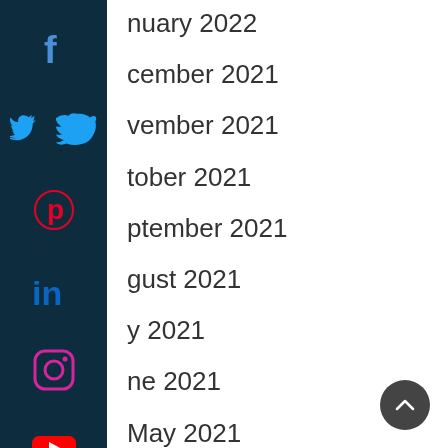January 2022
December 2021
November 2021
October 2021
September 2021
August 2021
July 2021
June 2021
May 2021
April 2021
March 2021
February 2021
January 2021
[Figure (other): Social media sidebar with icons for Facebook, Twitter, Pinterest, LinkedIn, Instagram, YouTube, and Email on dark teal background, plus a back-to-top button]